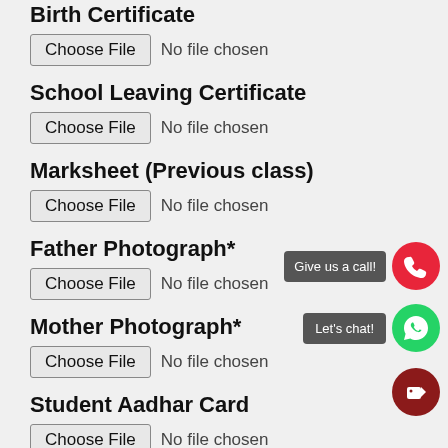Birth Certificate
Choose File  No file chosen
School Leaving Certificate
Choose File  No file chosen
Marksheet (Previous class)
Choose File  No file chosen
Father Photograph*
Choose File  No file chosen
Mother Photograph*
Choose File  No file chosen
Student Aadhar Card
Choose File  No file chosen
Student Bank Account (Passbook
[Figure (infographic): Floating action buttons: red phone call button with 'Give us a call!' label, green WhatsApp chat button with 'Let's chat!' label, dark red tag/label button]